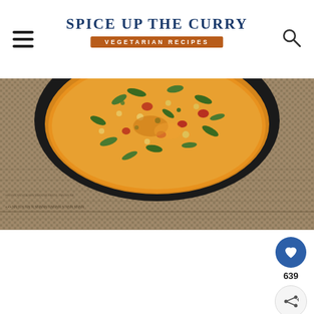Spice Up The Curry — Vegetarian Recipes
[Figure (photo): Top-down view of a black bowl containing orange/yellow curry with green vegetables (okra/beans) and red pieces, placed on a woven burlap or jute textured mat background.]
639